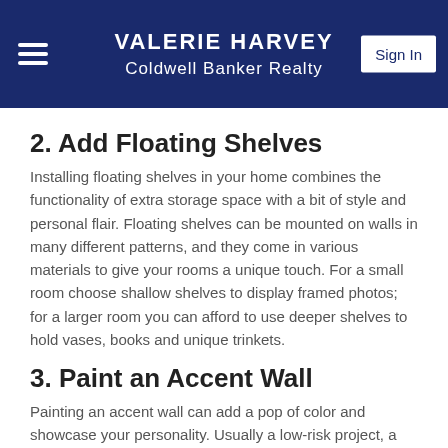VALERIE HARVEY
Coldwell Banker Realty
2. Add Floating Shelves
Installing floating shelves in your home combines the functionality of extra storage space with a bit of style and personal flair. Floating shelves can be mounted on walls in many different patterns, and they come in various materials to give your rooms a unique touch. For a small room choose shallow shelves to display framed photos; for a larger room you can afford to use deeper shelves to hold vases, books and unique trinkets.
3. Paint an Accent Wall
Painting an accent wall can add a pop of color and showcase your personality. Usually a low-risk project, a homeowner of any skill level can tackle this project in a day. You just need some painter's tape, a brush...